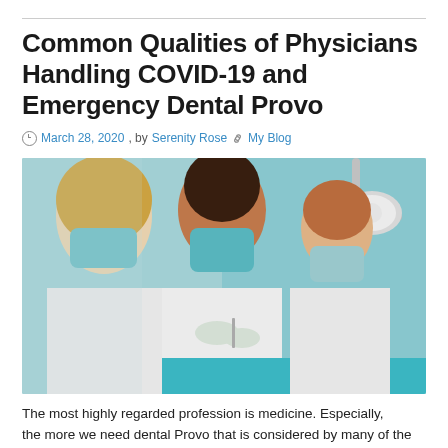Common Qualities of Physicians Handling COVID-19 and Emergency Dental Provo
March 28, 2020 , by Serenity Rose  My Blog
[Figure (photo): Three medical/dental professionals wearing white coats and teal surgical masks working in a dental clinic. Two women and one man focused on a patient procedure under bright surgical lights. Teal and white clinical environment.]
The most highly regarded profession is medicine. Especially, the more we need dental Provo that is considered by many of the